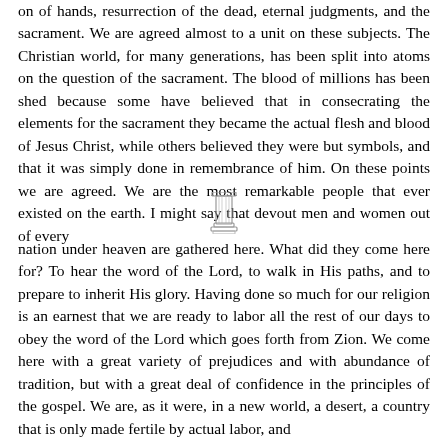on of hands, resurrection of the dead, eternal judgments, and the sacrament. We are agreed almost to a unit on these subjects. The Christian world, for many generations, has been split into atoms on the question of the sacrament. The blood of millions has been shed because some have believed that in consecrating the elements for the sacrament they became the actual flesh and blood of Jesus Christ, while others believed they were but symbols, and that it was simply done in remembrance of him. On these points we are agreed. We are the most remarkable people that ever existed on the earth. I might say that devout men and women out of every
[Figure (other): Decorative column/pillar divider icon centered on the page]
nation under heaven are gathered here. What did they come here for? To hear the word of the Lord, to walk in His paths, and to prepare to inherit His glory. Having done so much for our religion is an earnest that we are ready to labor all the rest of our days to obey the word of the Lord which goes forth from Zion. We come here with a great variety of prejudices and with abundance of tradition, but with a great deal of confidence in the principles of the gospel. We are, as it were, in a new world, a desert, a country that is only made fertile by actual labor, and